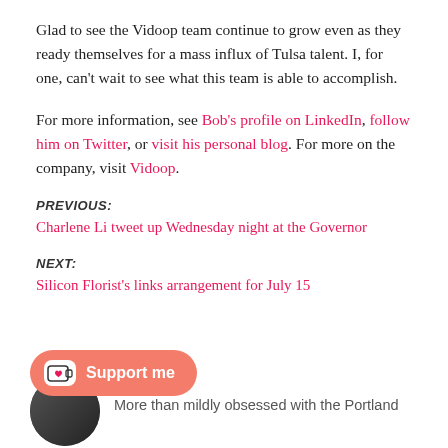Glad to see the Vidoop team continue to grow even as they ready themselves for a mass influx of Tulsa talent. I, for one, can't wait to see what this team is able to accomplish.
For more information, see Bob's profile on LinkedIn, follow him on Twitter, or visit his personal blog. For more on the company, visit Vidoop.
PREVIOUS:
Charlene Li tweet up Wednesday night at the Governor
NEXT:
Silicon Florist's links arrangement for July 15
n Turoczy
More than mildly obsessed with the Portland